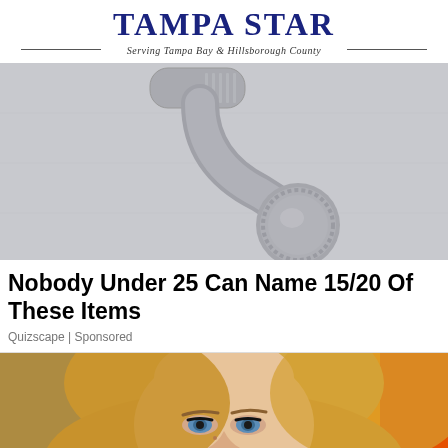Tampa Star — Serving Tampa Bay & Hillsborough County
[Figure (photo): Close-up photo of a gray plastic handheld shower head or door knob on a light gray background]
Nobody Under 25 Can Name 15/20 Of These Items
Quizscape | Sponsored
[Figure (photo): Close-up photo of a blonde woman's face with blue eyes and dramatic eye makeup, against a blue and orange background]